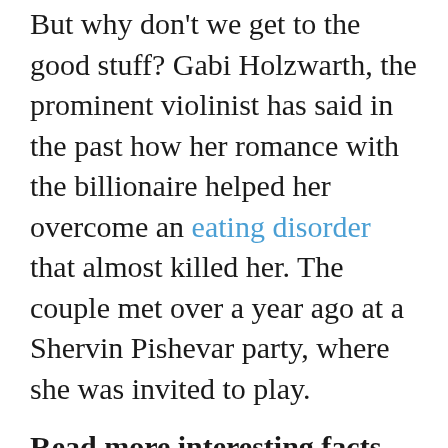But why don't we get to the good stuff? Gabi Holzwarth, the prominent violinist has said in the past how her romance with the billionaire helped her overcome an eating disorder that almost killed her. The couple met over a year ago at a Shervin Pishevar party, where she was invited to play.
Read more interesting facts about Gabi